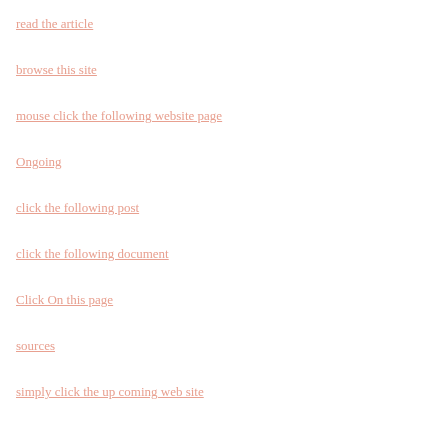read the article
browse this site
mouse click the following website page
Ongoing
click the following post
click the following document
Click On this page
sources
simply click the up coming web site